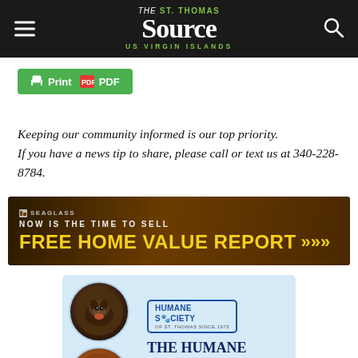The St. Thomas Source — US Virgin Islands
[Figure (screenshot): Print/PDF button — green button with printer icon, print and PDF icons]
Keeping our community informed is our top priority. If you have a news tip to share, please call or text us at 340-228-8784.
[Figure (infographic): Seaglass advertisement banner: NOW IS THE TIME TO SELL — FREE HOME VALUE REPORT >>>]
[Figure (infographic): Humane Society of St. Thomas advertisement with photos of a dog and cat, and the Humane Society logo]